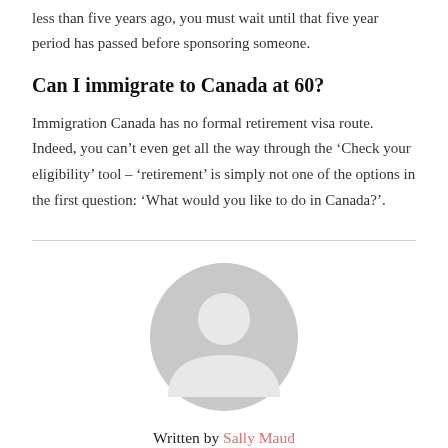less than five years ago, you must wait until that five year period has passed before sponsoring someone.
Can I immigrate to Canada at 60?
Immigration Canada has no formal retirement visa route. Indeed, you can't even get all the way through the 'Check your eligibility' tool – 'retirement' is simply not one of the options in the first question: 'What would you like to do in Canada?'.
[Figure (illustration): Grey circular avatar/profile placeholder icon showing a generic person silhouette]
Written by Sally Maud